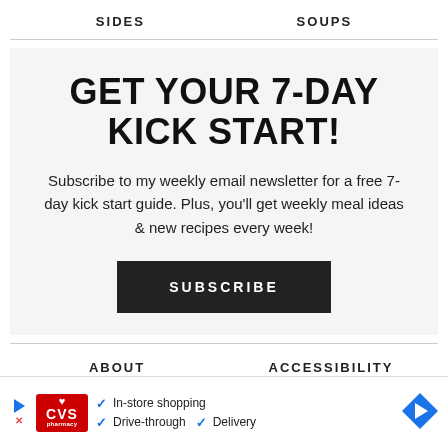SIDES   SOUPS
GET YOUR 7-DAY KICK START!
Subscribe to my weekly email newsletter for a free 7-day kick start guide. Plus, you'll get weekly meal ideas & new recipes every week!
SUBSCRIBE
ABOUT   ACCESSIBILITY   CONTACT   COOKBOOKS
[Figure (infographic): CVS Pharmacy advertisement banner showing logo with in-store shopping, drive-through, and delivery checkmarks, with a navigation arrow icon on the right]